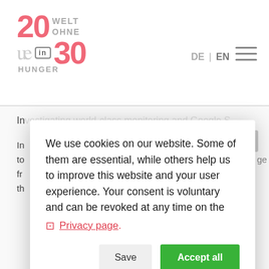[Figure (logo): 2030 Welt ohne Hunger logo with pink/salmon colored numerals and grey text]
DE | EN
We use cookies on our website. Some of them are essential, while others help us to improve this website and your user experience. Your consent is voluntary and can be revoked at any time on the Privacy page.
Save  Accept all
Standard
Cookies that
Analytics
We use Matomo
Third party content
[Figure (photo): Partial photo of a man with grey hair and glasses visible at bottom of page]